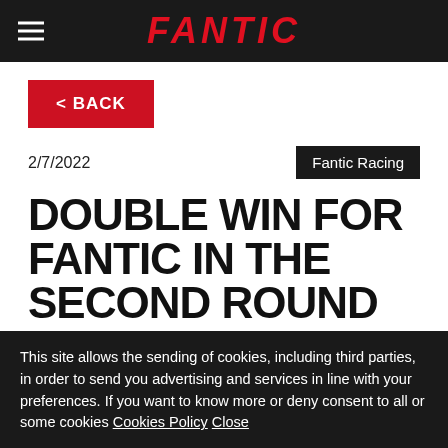FANTIC
< BACK
2/7/2022
Fantic Racing
DOUBLE WIN FOR FANTIC IN THE SECOND ROUND OF
This site allows the sending of cookies, including third parties, in order to send you advertising and services in line with your preferences. If you want to know more or deny consent to all or some cookies Cookies Policy Close